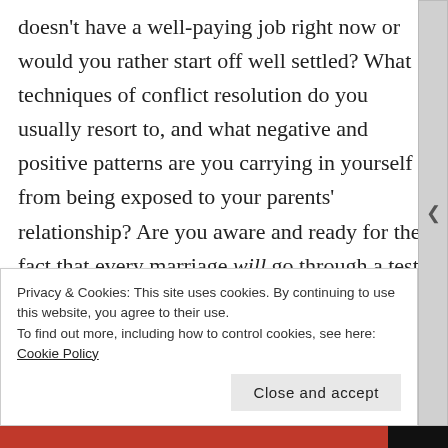doesn't have a well-paying job right now or would you rather start off well settled? What techniques of conflict resolution do you usually resort to, and what negative and positive patterns are you carrying in yourself from being exposed to your parents' relationship? Are you aware and ready for the fact that every marriage will go through a test?

Based on all of this (and many more similar questions), what kind of person do you really want, need and feel you can live with? And based
Privacy & Cookies: This site uses cookies. By continuing to use this website, you agree to their use.
To find out more, including how to control cookies, see here: Cookie Policy

Close and accept